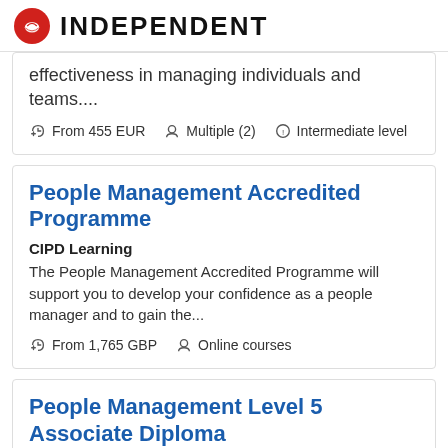INDEPENDENT
effectiveness in managing individuals and teams....
From 455 EUR   Multiple (2)   Intermediate level
People Management Accredited Programme
CIPD Learning
The People Management Accredited Programme will support you to develop your confidence as a people manager and to gain the...
From 1,765 GBP   Online courses
People Management Level 5 Associate Diploma